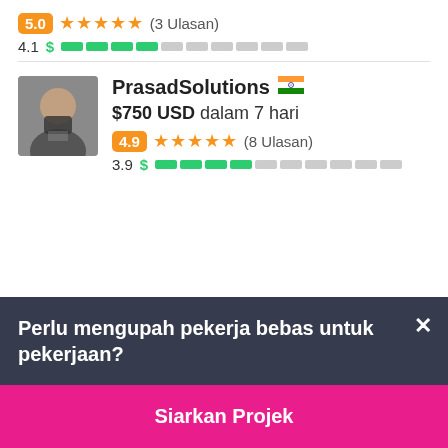5.0 ★★★★★ (3 Ulasan)
4.1 $ ████░░░░░░
PrasadSolutions 🇮🇳
$750 USD dalam 7 hari
4.9 ★★★★★ (8 Ulasan)
3.9 $ ███░░░░░░░
Perlu mengupah pekerja bebas untuk pekerjaan?
Siarkan Projek